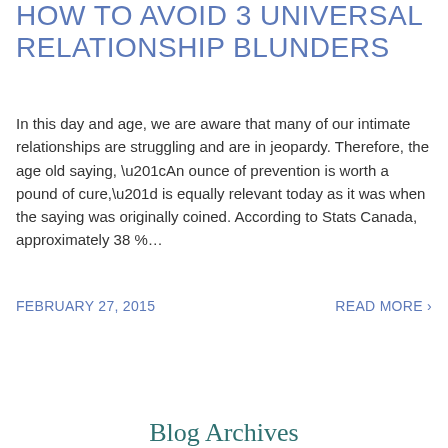HOW TO AVOID 3 UNIVERSAL RELATIONSHIP BLUNDERS
In this day and age, we are aware that many of our intimate relationships are struggling and are in jeopardy. Therefore, the age old saying, “An ounce of prevention is worth a pound of cure,” is equally relevant today as it was when the saying was originally coined. According to Stats Canada, approximately 38 %…
FEBRUARY 27, 2015
READ MORE ›
Blog Archives